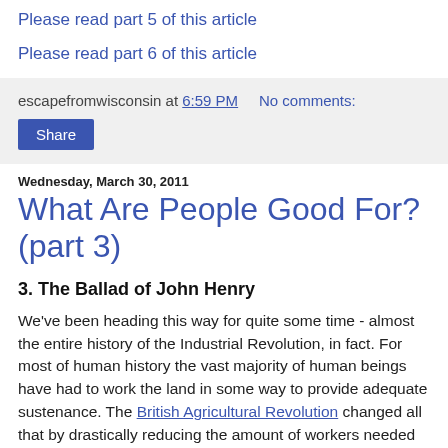Please read part 5 of this article
Please read part 6 of this article
escapefromwisconsin at 6:59 PM    No comments:
Share
Wednesday, March 30, 2011
What Are People Good For? (part 3)
3. The Ballad of John Henry
We've been heading this way for quite some time - almost the entire history of the Industrial Revolution, in fact. For most of human history the vast majority of human beings have had to work the land in some way to provide adequate sustenance. The British Agricultural Revolution changed all that by drastically reducing the amount of workers needed for agricultural production. These displaced workers filed into